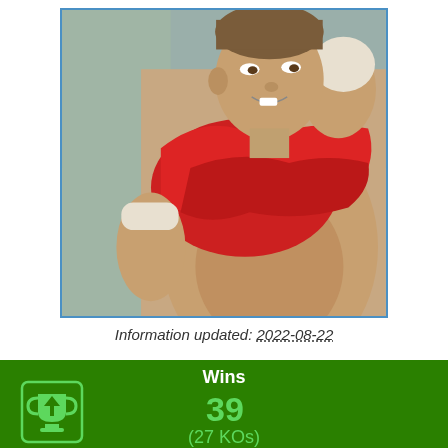[Figure (photo): A male boxer lifting his red shirt/towel, showing his torso, wearing white hand wraps, smiling at camera in a gym setting.]
Information updated: 2022-08-22
Wins
39
(27 KOs)